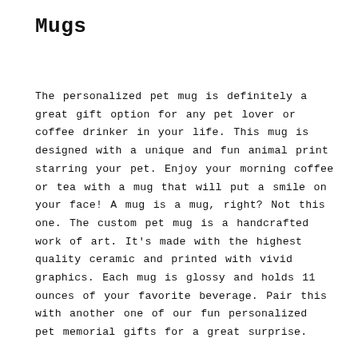Mugs
The personalized pet mug is definitely a great gift option for any pet lover or coffee drinker in your life. This mug is designed with a unique and fun animal print starring your pet. Enjoy your morning coffee or tea with a mug that will put a smile on your face! A mug is a mug, right? Not this one. The custom pet mug is a handcrafted work of art. It's made with the highest quality ceramic and printed with vivid graphics. Each mug is glossy and holds 11 ounces of your favorite beverage. Pair this with another one of our fun personalized pet memorial gifts for a great surprise.